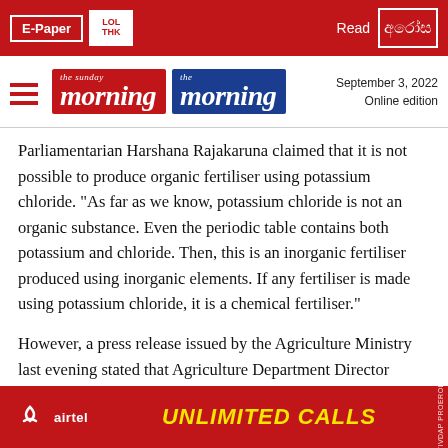E-Paper | [logo] | Read [Sinhala logo] | September 3, 2022 | Online edition
Parliamentarian Harshana Rajakaruna claimed that it is not possible to produce organic fertiliser using potassium chloride. "As far as we know, potassium chloride is not an organic substance. Even the periodic table contains both potassium and chloride. Then, this is an inorganic fertiliser produced using inorganic elements. If any fertiliser is made using potassium chloride, it is a chemical fertiliser."
However, a press release issued by the Agriculture Ministry last evening stated that Agriculture Department Director General (DG) Dr. Ajantha de Silva has confirmed that the potassium chloride "organic fertiliser" imported to Sri Lanka for the Maha season this year is a fertiliser of pure mineral origin.
"It is ve... ing. Dr.
[Figure (infographic): Airtel advertisement banner: red background with Airtel logo on left, 'UNLIMITED CALLS' text in yellow italic bold font in center, vertical text on right side.]